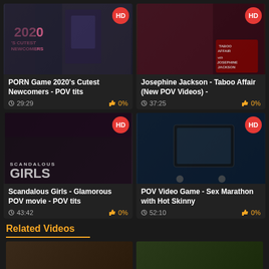[Figure (screenshot): Video thumbnail for PORN Game 2020's Cutest Newcomers - POV tits, HD badge, duration 29:29, 0% likes]
[Figure (screenshot): Video thumbnail for Josephine Jackson - Taboo Affair (New POV Videos), HD badge, duration 37:25, 0% likes]
[Figure (screenshot): Video thumbnail for Scandalous Girls - Glamorous POV movie - POV tits, HD badge, duration 43:42, 0% likes]
[Figure (screenshot): Video thumbnail for POV Video Game - Sex Marathon with Hot Skinny, HD badge, duration 52:10, 0% likes]
Related Videos